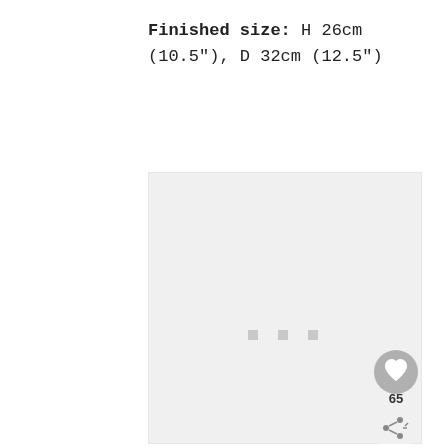Finished size: H 26cm (10.5"), D 32cm (12.5")
[Figure (other): Loading placeholder image area with light gray background and three small gray squares centered in the lower-middle portion, with a heart/favorite button (65 likes) and a share button overlaid on the bottom-right corner.]